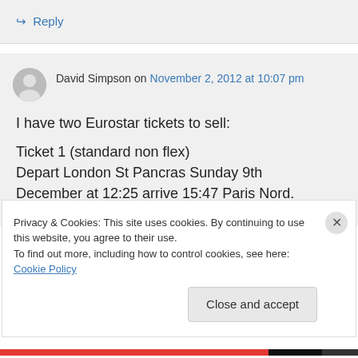↪ Reply
David Simpson on November 2, 2012 at 10:07 pm
I have two Eurostar tickets to sell:

Ticket 1 (standard non flex)
Depart London St Pancras Sunday 9th December at 12:25 arrive 15:47 Paris Nord.
Privacy & Cookies: This site uses cookies. By continuing to use this website, you agree to their use.
To find out more, including how to control cookies, see here: Cookie Policy
Close and accept